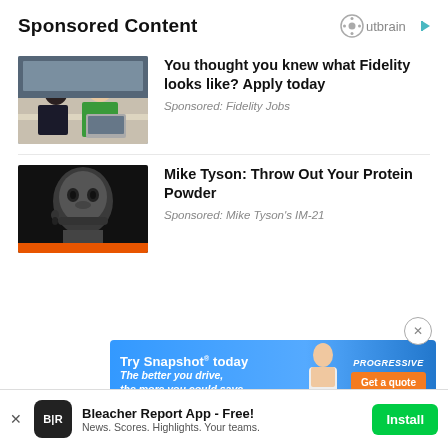Sponsored Content
[Figure (logo): Outbrain logo with circular icon and play button]
[Figure (photo): Two women in an office setting, one in green top, sitting at a table with a laptop]
You thought you knew what Fidelity looks like? Apply today
Sponsored: Fidelity Jobs
[Figure (photo): Black and white close-up portrait of Mike Tyson]
Mike Tyson: Throw Out Your Protein Powder
Sponsored: Mike Tyson's IM-21
[Figure (screenshot): Progressive Insurance Snapshot advertisement banner with woman and Get a quote button]
[Figure (logo): Bleacher Report app icon - black square with B|R text]
Bleacher Report App - Free! News. Scores. Highlights. Your teams.
Install